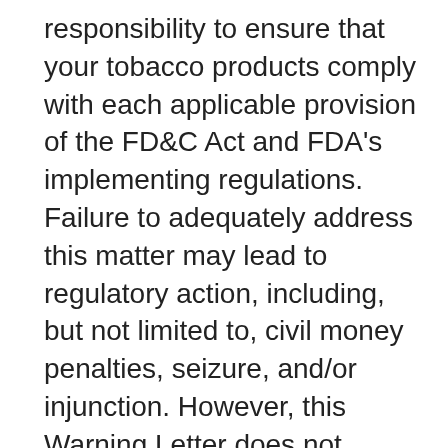responsibility to ensure that your tobacco products comply with each applicable provision of the FD&C Act and FDA's implementing regulations. Failure to adequately address this matter may lead to regulatory action, including, but not limited to, civil money penalties, seizure, and/or injunction. However, this Warning Letter does not constitute “written notice” for purposes of section 303(f)(9)(B)(i)(II) of the FD&C Act. Please note that tobacco products offered for import into the United States that appear to be adulterated and/or misbranded may be detained or refused admission.
The violations discussed in this letter do not necessarily constitute an exhaustive list. You should take prompt action to address any